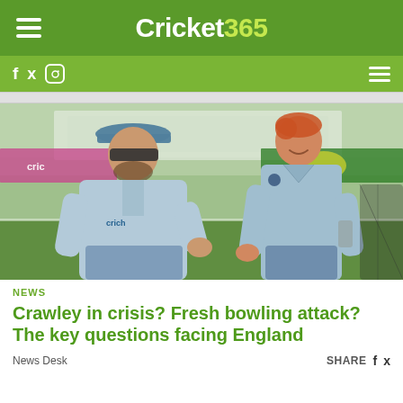Cricket365
[Figure (photo): Two England cricket players in grey/blue training kit on a cricket ground, smiling and interacting. One wears sunglasses and a cap, the other is taller with red hair.]
NEWS
Crawley in crisis? Fresh bowling attack? The key questions facing England
News Desk   SHARE